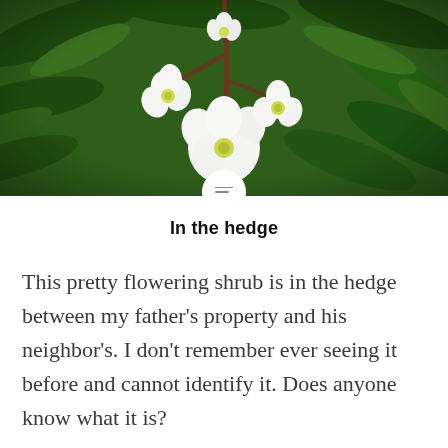[Figure (photo): Close-up photograph of white flowering shrub blossoms with yellow-green centers, set against a blurred green leafy background. Stems are dark reddish-brown.]
In the hedge
This pretty flowering shrub is in the hedge between my father's property and his neighbor's. I don't remember ever seeing it before and cannot identify it. Does anyone know what it is?